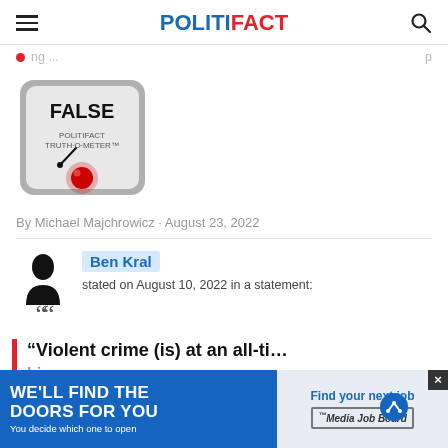POLITIFACT
By Michael Majchrowicz · August 23, 2022
[Figure (illustration): PolitiFact Truth-O-Meter showing FALSE rating with red indicator at left/false position]
Ben Kral stated on August 10, 2022 in a statement:
“Violent crime (is) at an all-time hi...